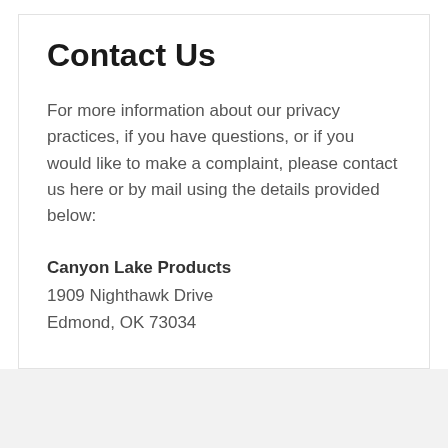Contact Us
For more information about our privacy practices, if you have questions, or if you would like to make a complaint, please contact us here or by mail using the details provided below:
Canyon Lake Products
1909 Nighthawk Drive
Edmond, OK 73034
LEGAL
Shipping Policy
Returns & Refunds